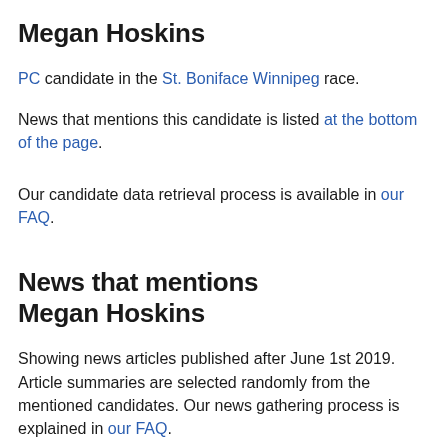Megan Hoskins
PC candidate in the St. Boniface Winnipeg race.
News that mentions this candidate is listed at the bottom of the page.
Our candidate data retrieval process is available in our FAQ.
News that mentions Megan Hoskins
Showing news articles published after June 1st 2019. Article summaries are selected randomly from the mentioned candidates. Our news gathering process is explained in our FAQ.
Lamont retains seat in St. Boniface